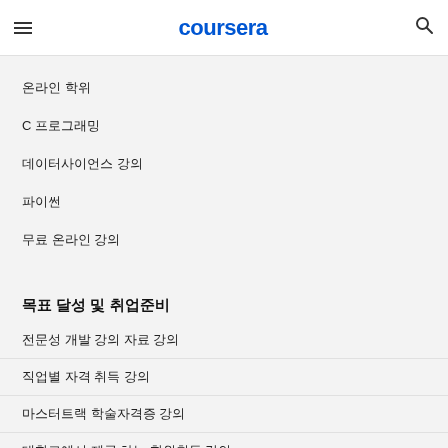coursera
온라인 학위
C 프로그래밍
데이터사이언스 강의
파이썬
무료 온라인 강의
목표 달성 및 취업준비
전문성 개발 강의 자료 강의
직업별 자격 취득 강의
마스터트랙 학술자격증 강의
대학교에서 제공 하는 학위취득 강의